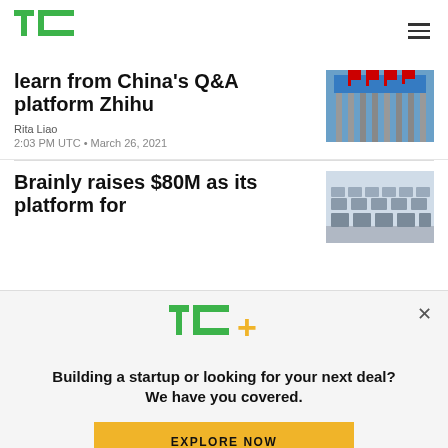TechCrunch logo and navigation
learn from China's Q&A platform Zhihu
Rita Liao
2:03 PM UTC • March 26, 2021
[Figure (photo): Exterior of a building with flags, possibly NYSE]
Brainly raises $80M as its platform for
[Figure (photo): Rows of classroom desks and chairs]
[Figure (logo): TC+ logo]
Building a startup or looking for your next deal? We have you covered.
EXPLORE NOW